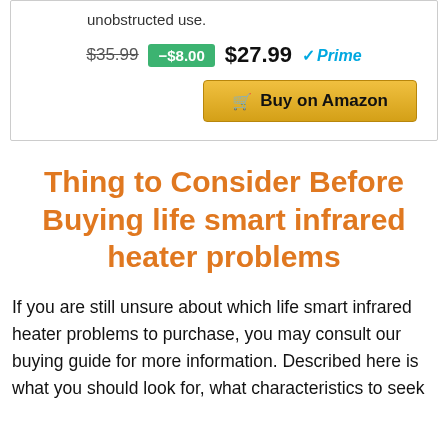unobstructed use.
$35.99  -$8.00  $27.99 ✓Prime
[Figure (other): Buy on Amazon button with shopping cart icon, gold/yellow background]
Thing to Consider Before Buying life smart infrared heater problems
If you are still unsure about which life smart infrared heater problems to purchase, you may consult our buying guide for more information. Described here is what you should look for, what characteristics to seek